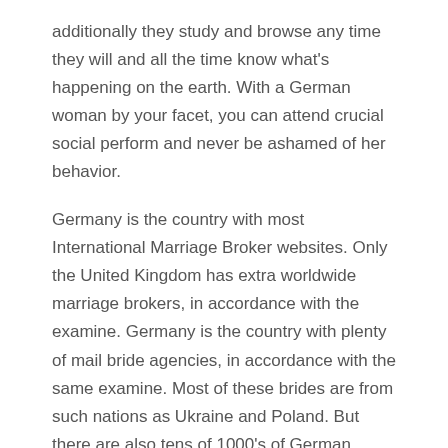additionally they study and browse any time they will and all the time know what's happening on the earth. With a German woman by your facet, you can attend crucial social perform and never be ashamed of her behavior.
Germany is the country with most International Marriage Broker websites. Only the United Kingdom has extra worldwide marriage brokers, in accordance with the examine. Germany is the country with plenty of mail bride agencies, in accordance with the same examine. Most of these brides are from such nations as Ukraine and Poland. But there are also tens of 1000's of German ladies who're searching for American males. As the struggle begins, Hanna Rombauer, a young German girl, is shipped to live with her aunt and uncle after her mother's demise. Thrown into a life of luxurious she never expected, Hanna soon finds herself unwillingly matched with an SS officer twenty years her senior.